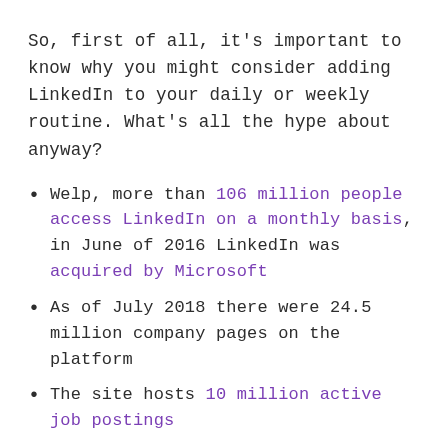So, first of all, it's important to know why you might consider adding LinkedIn to your daily or weekly routine. What's all the hype about anyway?
Welp, more than 106 million people access LinkedIn on a monthly basis, in June of 2016 LinkedIn was acquired by Microsoft
As of July 2018 there were 24.5 million company pages on the platform
The site hosts 10 million active job postings
75% of people who have recently changed jobs used LinkedIn to help them decide